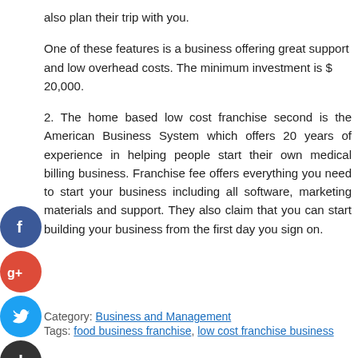also plan their trip with you.
One of these features is a business offering great support and low overhead costs. The minimum investment is $ 20,000.
2. The home based low cost franchise second is the American Business System which offers 20 years of experience in helping people start their own medical billing business. Franchise fee offers everything you need to start your business including all software, marketing materials and support. They also claim that you can start building your business from the first day you sign on.
[Figure (infographic): Social media sharing icons: Facebook (blue circle with f), Google+ (red circle with g+), Twitter (light blue circle with bird), and a dark circle with plus sign]
Category: Business and Management
Tags: food business franchise, low cost franchise business